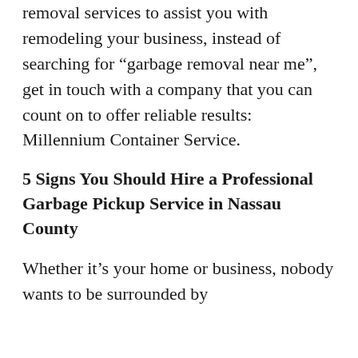removal services to assist you with remodeling your business, instead of searching for “garbage removal near me”, get in touch with a company that you can count on to offer reliable results: Millennium Container Service.
5 Signs You Should Hire a Professional Garbage Pickup Service in Nassau County
Whether it’s your home or business, nobody wants to be surrounded by